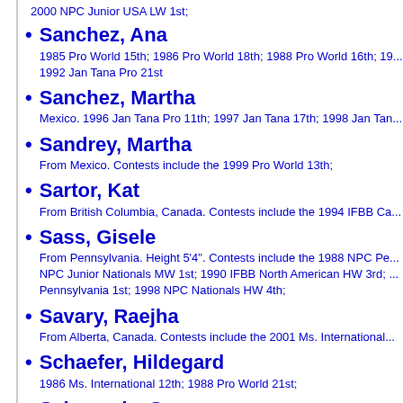2000 NPC Junior USA LW 1st;
Sanchez, Ana
1985 Pro World 15th; 1986 Pro World 18th; 1988 Pro World 16th; 19... 1992 Jan Tana Pro 21st
Sanchez, Martha
Mexico. 1996 Jan Tana Pro 11th; 1997 Jan Tana 17th; 1998 Jan Tan...
Sandrey, Martha
From Mexico. Contests include the 1999 Pro World 13th;
Sartor, Kat
From British Columbia, Canada. Contests include the 1994 IFBB Ca...
Sass, Gisele
From Pennsylvania. Height 5'4". Contests include the 1988 NPC Pe... NPC Junior Nationals MW 1st; 1990 IFBB North American HW 3rd; ... Pennsylvania 1st; 1998 NPC Nationals HW 4th;
Savary, Raejha
From Alberta, Canada. Contests include the 2001 Ms. International...
Schaefer, Hildegard
1986 Ms. International 12th; 1988 Pro World 21st;
Scheppele, Sue
From Delaware. Contests include the 2000 NPC Junior USA LW 9th...